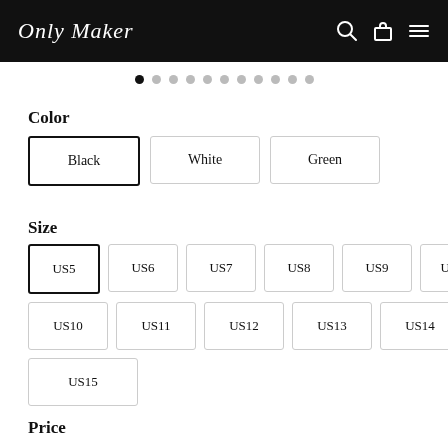Only Maker
[Figure (other): Carousel pagination dots, first dot active]
Color
Black (selected)
White
Green
Size
US5 (selected)
US6
US7
US8
US9
US9.5
US10
US11
US12
US13
US14
US15
Price